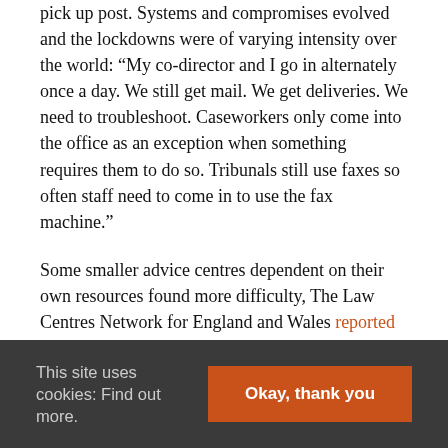pick up post. Systems and compromises evolved and the lockdowns were of varying intensity over the world: “My co-director and I go in alternately once a day. We still get mail. We get deliveries. We need to troubleshoot. Caseworkers only come into the office as an exception when something requires them to do so. Tribunals still use faxes so often staff need to come in to use the fax machine.”
Some smaller advice centres dependent on their own resources found more difficulty, The Law Centres Network for England and Wales reported early on “Our Law Centres are struggling with their IT needs. Few Law Centres have work-provided equipment that they can use at home (laptops, work mobiles) and others have been struggling to find the right office equipment (using their ironing board as a desk or taking private client calls in cupboards). This
This site uses cookies: Find out more.